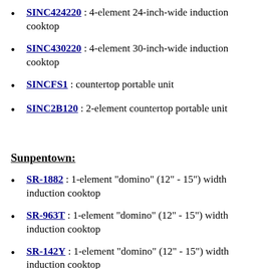SINC424220 : 4-element 24-inch-wide induction cooktop
SINC430220 : 4-element 30-inch-wide induction cooktop
SINCFS1 : countertop portable unit
SINC2B120 : 2-element countertop portable unit
Sunpentown:
SR-1882 : 1-element "domino" (12" - 15") width induction cooktop
SR-963T : 1-element "domino" (12" - 15") width induction cooktop
SR-142Y : 1-element "domino" (12" - 15") width induction cooktop
SR-1882 : lower powered countertop unit